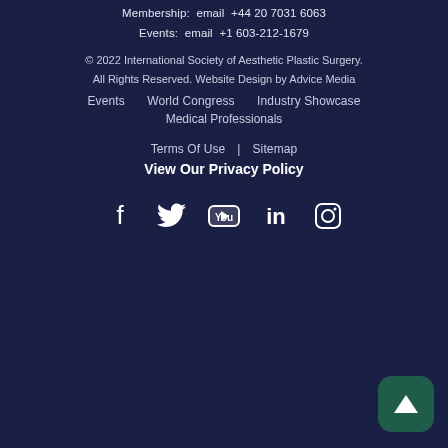Membership: email +44 20 7031 6063
Events: email +1 603-212-1679
© 2022 International Society of Aesthetic Plastic Surgery. All Rights Reserved. Website Design by Advice Media
Events   World Congress   Industry Showcase
Medical Professionals
Terms Of Use   Sitemap
View Our Privacy Policy
[Figure (infographic): Social media icons: Facebook, Twitter, YouTube, LinkedIn, Instagram]
[Figure (infographic): Back to top button with upward arrow]